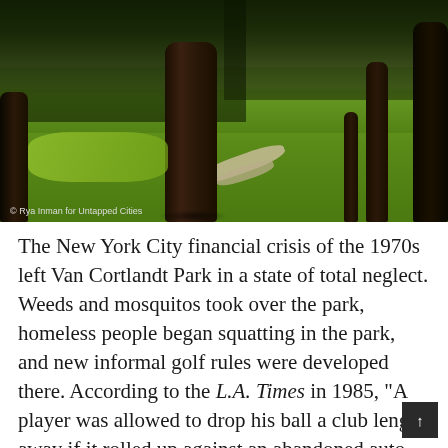[Figure (photo): A parkland scene showing large tree trunks, lush green grass, a winding path, and tree canopy overhead. Photo credit: © Rya Inman for Untapped Cities]
© Rya Inman for Untapped Cities
The New York City financial crisis of the 1970s left Van Cortlandt Park in a state of total neglect. Weeds and mosquitos took over the park, homeless people began squatting in the park, and new informal golf rules were developed there. According to the L.A. Times in 1985, "A player was allowed to drop his ball a club length away if it rolled up against an abandoned auto, or, in one case, a boat. To thwart robbers, besieged golfers quit playing in